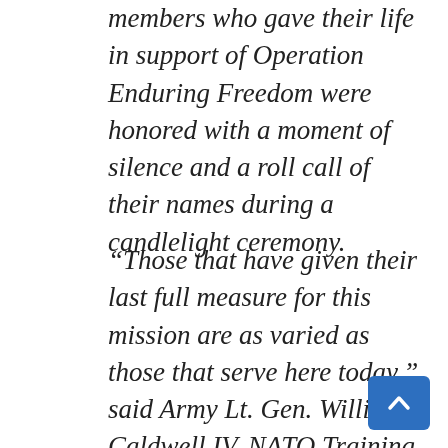members who gave their life in support of Operation Enduring Freedom were honored with a moment of silence and a roll call of their names during a candlelight ceremony.
“Those that have given their last full measure for this mission are as varied as those that serve here today,” said Army Lt. Gen. William Caldwell IV, NATO Training Mission-Afghanistan and Combined Security Transition Command-Afghanistan